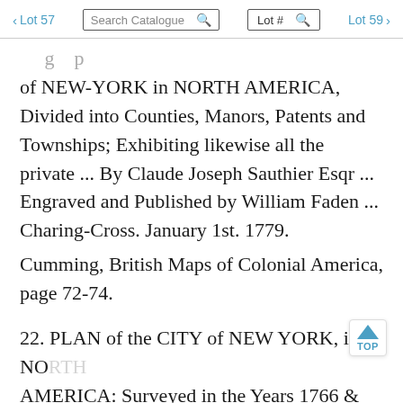< Lot 57   Search Catalogue 🔍   Lot # 🔍   Lot 59 >
of NEW-YORK in NORTH AMERICA, Divided into Counties, Manors, Patents and Townships; Exhibiting likewise all the private ... By Claude Joseph Sauthier Esqr ... Engraved and Published by William Faden ... Charing-Cross. January 1st. 1779.
Cumming, British Maps of Colonial America, page 72-74.
22. PLAN of the CITY of NEW YORK, in NORTH AMERICA: Surveyed in the Years 1766 & 1767.... by... B. Ratzer, Lieut. In His majesty's 60th or